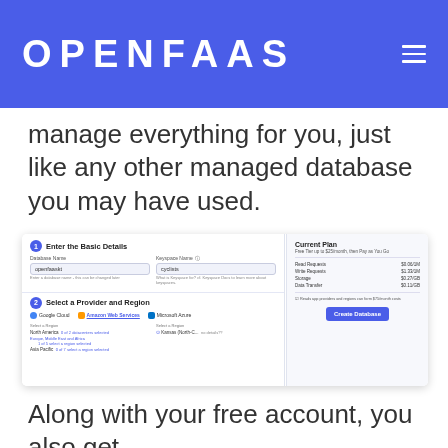OPENFAAS
manage everything for you, just like any other managed database you may have used.
[Figure (screenshot): Screenshot of a database creation form showing 'Enter the Basic Details' section with fields for Database Name ('openfaaskt') and Keyspace Name ('cyclists'), and 'Select a Provider and Region' section with Google Cloud, Amazon Web Services, and Microsoft Azure options. A right panel shows 'Current Plan - Free Tier up to $25/month, then Pay as You Go' with pricing: Read Requests $0.06/1M, Write Requests $1.33/1M, Storage $0.27/GB, Data Transfer $0.11/GB, and a 'Create Database' button.]
Along with your free account, you also get